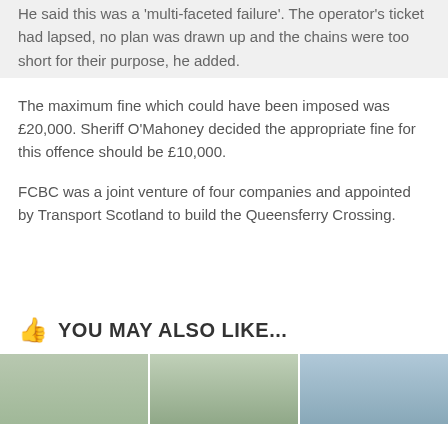He said this was a 'multi-faceted failure'. The operator's ticket had lapsed, no plan was drawn up and the chains were too short for their purpose, he added.
The maximum fine which could have been imposed was £20,000. Sheriff O'Mahoney decided the appropriate fine for this offence should be £10,000.
FCBC was a joint venture of four companies and appointed by Transport Scotland to build the Queensferry Crossing.
YOU MAY ALSO LIKE...
[Figure (photo): Three thumbnail images at the bottom of the page showing outdoor/landscape scenes]